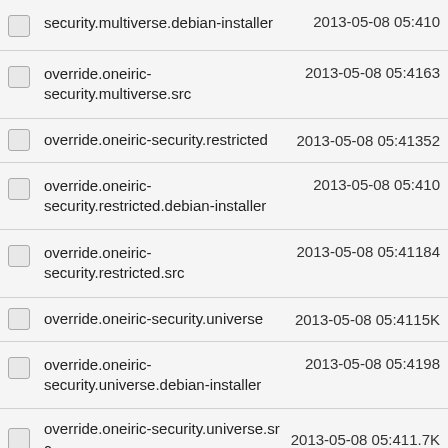security.multiverse.debian-installer 2013-05-08 05:410
override.oneiric-security.multiverse.src 2013-05-08 05:4163
override.oneiric-security.restricted 2013-05-08 05:41352
override.oneiric-security.restricted.debian-installer 2013-05-08 05:410
override.oneiric-security.restricted.src 2013-05-08 05:41184
override.oneiric-security.universe 2013-05-08 05:4115K
override.oneiric-security.universe.debian-installer 2013-05-08 05:4198
override.oneiric-security.universe.src 2013-05-08 05:411.7K
override.oneiric-updates.extra.main 2013-05-08 06:093.1M